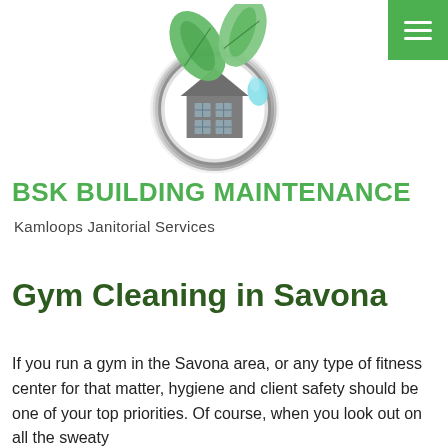[Figure (logo): BSK Building Maintenance logo: circular chrome ring with a house silhouette inside and green leaves on top, water droplet element]
BSK BUILDING MAINTENANCE
Kamloops Janitorial Services
Gym Cleaning in Savona
If you run a gym in the Savona area, or any type of fitness center for that matter, hygiene and client safety should be one of your top priorities. Of course, when you look out on all the sweaty